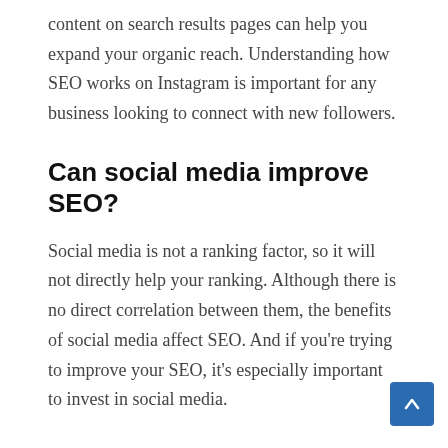content on search results pages can help you expand your organic reach. Understanding how SEO works on Instagram is important for any business looking to connect with new followers.
Can social media improve SEO?
Social media is not a ranking factor, so it will not directly help your ranking. Although there is no direct correlation between them, the benefits of social media affect SEO. And if you're trying to improve your SEO, it's especially important to invest in social media.
Are GREY hat hackers punished?
So a gray hacker should expect to be punished by discovering company vulnerabilities. However, some